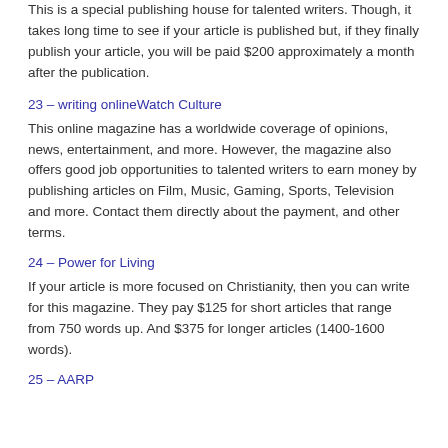This is a special publishing house for talented writers. Though, it takes long time to see if your article is published but, if they finally publish your article, you will be paid $200 approximately a month after the publication.
23 – writing onlineWatch Culture
This online magazine has a worldwide coverage of opinions, news, entertainment, and more. However, the magazine also offers good job opportunities to talented writers to earn money by publishing articles on Film, Music, Gaming, Sports, Television and more. Contact them directly about the payment, and other terms.
24 – Power for Living
If your article is more focused on Christianity, then you can write for this magazine. They pay $125 for short articles that range from 750 words up. And $375 for longer articles (1400-1600 words).
25 – AARP